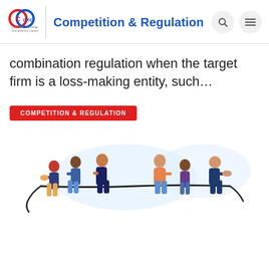CIRC Competition & Regulation
combination regulation when the target firm is a loss-making entity, such…
COMPETITION & REGULATION
[Figure (illustration): Illustration of people in two groups pulling a rope in a tug-of-war style, representing competition and regulation.]